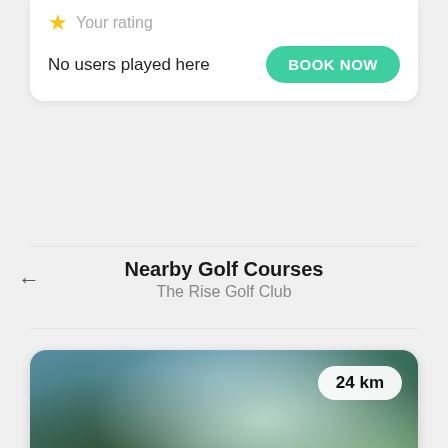★ Your rating
No users played here
BOOK NOW
Nearby Golf Courses
The Rise Golf Club
[Figure (photo): Golf course landscape photo with blurred green fairway and blue sky background, showing a distance badge of 24 km and an ALL logo in bottom-left corner]